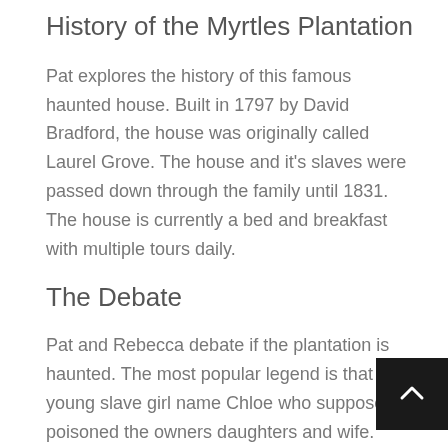History of the Myrtles Plantation
Pat explores the history of this famous haunted house. Built in 1797 by David Bradford, the house was originally called Laurel Grove. The house and it's slaves were passed down through the family until 1831. The house is currently a bed and breakfast with multiple tours daily.
The Debate
Pat and Rebecca debate if the plantation is haunted. The most popular legend is that of a young slave girl name Chloe who supposedly poisoned the owners daughters and wife. However, there is no proof of this story. But there is evidence of ghosts on the property with photos, sightings, noises, and moving furniture. Unless you don't believe any of it.